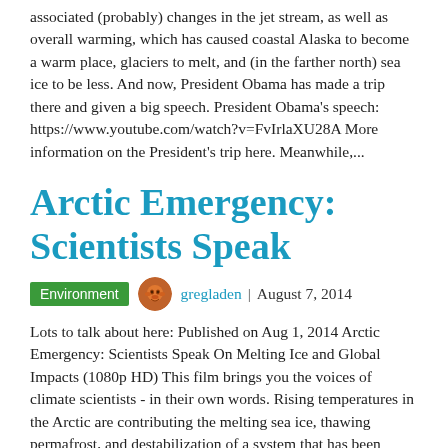associated (probably) changes in the jet stream, as well as overall warming, which has caused coastal Alaska to become a warm place, glaciers to melt, and (in the farther north) sea ice to be less. And now, President Obama has made a trip there and given a big speech. President Obama's speech: https://www.youtube.com/watch?v=FvIrlaXU28A More information on the President's trip here. Meanwhile,...
Arctic Emergency: Scientists Speak
Environment  gregladen | August 7, 2014
Lots to talk about here: Published on Aug 1, 2014 Arctic Emergency: Scientists Speak On Melting Ice and Global Impacts (1080p HD) This film brings you the voices of climate scientists - in their own words. Rising temperatures in the Arctic are contributing the melting sea ice, thawing permafrost, and destabilization of a system that has been called "Earth's Air Conditioner". Global warming is here and is impacting weather patterns, natural systems, and human life around the world - and the Arctic is central to these impacts. ------------------------------------ Scientists...